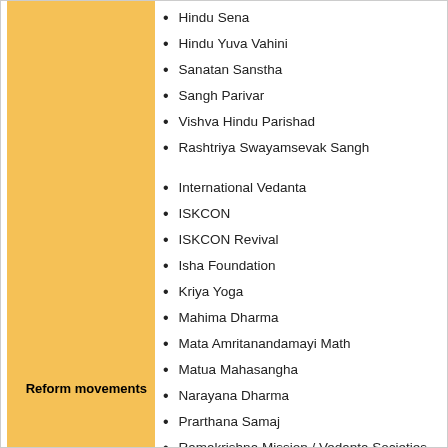Hindu Sena
Hindu Yuva Vahini
Sanatan Sanstha
Sangh Parivar
Vishva Hindu Parishad
Rashtriya Swayamsevak Sangh
Reform movements
International Vedanta
ISKCON
ISKCON Revival
Isha Foundation
Kriya Yoga
Mahima Dharma
Mata Amritanandamayi Math
Matua Mahasangha
Narayana Dharma
Prarthana Samaj
Ramakrishna Mission / Vedanta Societies
Ravidassia